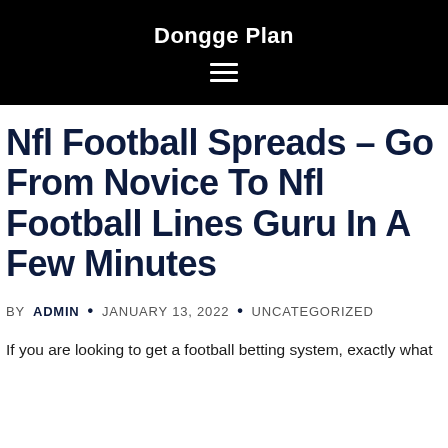Dongge Plan
Nfl Football Spreads – Go From Novice To Nfl Football Lines Guru In A Few Minutes
BY ADMIN · JANUARY 13, 2022 · UNCATEGORIZED
If you are looking to get a football betting system, exactly what